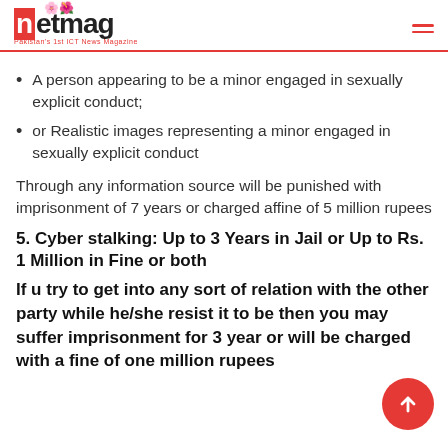netmag — Pakistan's 1st ICT News Magazine
A person appearing to be a minor engaged in sexually explicit conduct;
or Realistic images representing a minor engaged in sexually explicit conduct
Through any information source will be punished with imprisonment of 7 years or charged affine of 5 million rupees
5.  Cyber stalking: Up to 3 Years in Jail or Up to Rs. 1 Million in Fine or both
If u try to get into any sort of relation with the other party while he/she resist it to be then you may suffer imprisonment for 3 year or will be charged with a fine of one million rupees